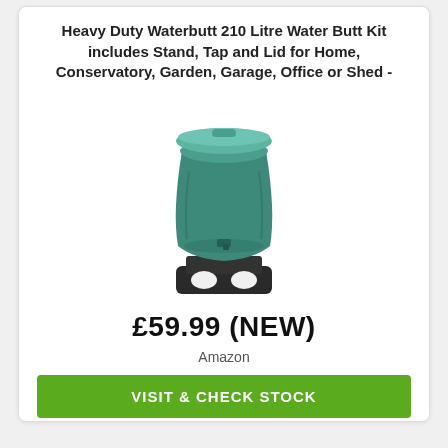Heavy Duty Waterbutt 210 Litre Water Butt Kit includes Stand, Tap and Lid for Home, Conservatory, Garden, Garage, Office or Shed -
[Figure (photo): A teal/dark green 210 litre water butt (barrel) with a lid, sitting on a black plastic stand.]
£59.99 (NEW)
Amazon
VISIT & CHECK STOCK